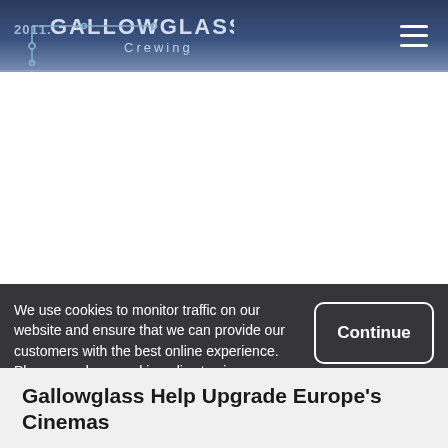2011 Gallowglass Crewing
[Figure (logo): Gallowglass Crewing logo with year 2011 and a geometric line art design]
We use cookies to monitor traffic on our website and ensure that we can provide our customers with the best online experience. Please read our cookie policy to view more details.
Gallowglass Help Upgrade Europe's Cinemas